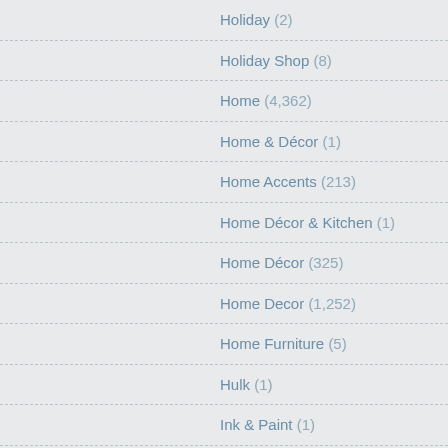Holiday (2)
Holiday Shop (8)
Home (4,362)
Home & Décor (1)
Home Accents (213)
Home Décor & Kitchen (1)
Home Décor (325)
Home Decor (1,252)
Home Furniture (5)
Hulk (1)
Ink & Paint (1)
Inspired By Fashion (3)
Jack Skellington (3)
Jackets & Sweaters (4)
Jessie (2)